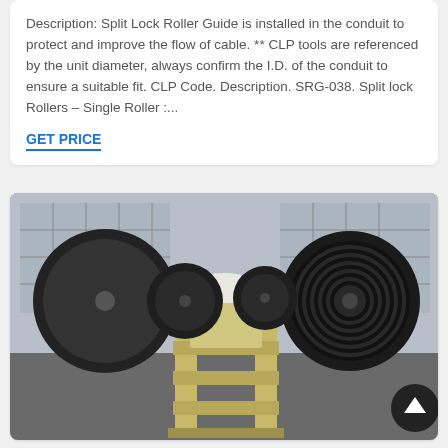Description: Split Lock Roller Guide is installed in the conduit to protect and improve the flow of cable. ** CLP tools are referenced by the unit diameter, always confirm the I.D. of the conduit to ensure a suitable fit. CLP Code. Description. SRG-038. Split lock Rollers – Single Roller :...
GET PRICE
[Figure (photo): Industrial jaw crusher machine, painted in yellow/cream color with large black flywheels, photographed in an industrial warehouse setting with corrugated metal walls in the background.]